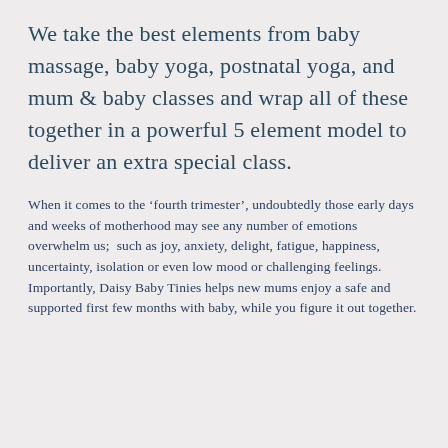We take the best elements from baby massage, baby yoga, postnatal yoga, and mum & baby classes and wrap all of these together in a powerful 5 element model to deliver an extra special class.
When it comes to the 'fourth trimester', undoubtedly those early days and weeks of motherhood may see any number of emotions overwhelm us;  such as joy, anxiety, delight, fatigue, happiness, uncertainty, isolation or even low mood or challenging feelings. Importantly, Daisy Baby Tinies helps new mums enjoy a safe and supported first few months with baby, while you figure it out together.